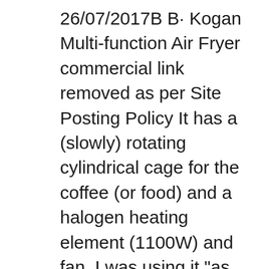26/07/2017В В· Kogan Multi-function Air Fryer commercial link removed as per Site Posting Policy It has a (slowly) rotating cylindrical cage for the coffee (or food) and a halogen heating element (1100W) and fan. I was using it "as standard" with reasonably good results as far as I can tell. The beans were seemingly evenly roasted and got to first crack in, Buy Kogan 7.2L Digital Low Fat 1800W Air Fryer from Kogan.com. Kickstart healthy eating and cooking habits with this low fat digital fryer, letting you enjoy the delicious crunch of perfectly crisp fries and roasted favourites with minimal oil and zero guilt! Fry, grill, roast and bake with little-to-no-oil! 8 Preset modes to cook